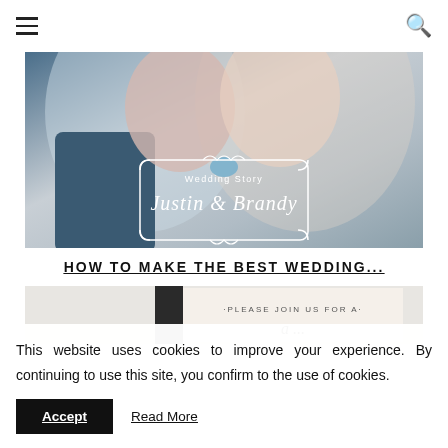[Figure (photo): Navigation bar with hamburger menu icon on the left and search icon on the right, white background]
[Figure (photo): Wedding photo of couple nearly kissing under a veil, with decorative white overlay text reading 'Wedding Story Justin & Brandy']
HOW TO MAKE THE BEST WEDDING...
[Figure (photo): Partial view of a wedding invitation card with text 'PLEASE JOIN US FOR A' visible at top]
This website uses cookies to improve your experience. By continuing to use this site, you confirm to the use of cookies.
Accept
Read More